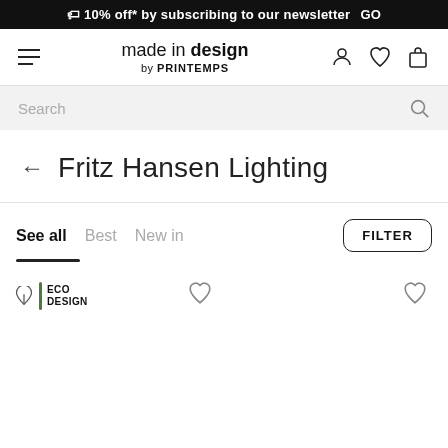🏷 10% off* by subscribing to our newsletter GO
[Figure (screenshot): made in design by PRINTEMPS logo with hamburger menu, user, wishlist, and cart icons]
Search
Fritz Hansen Lighting
See all  Best  New in
[Figure (other): ECO DESIGN badge with leaf icon and green vertical bar]
[Figure (other): Wishlist heart icon on product card 1]
[Figure (other): Wishlist heart icon on product card 2]